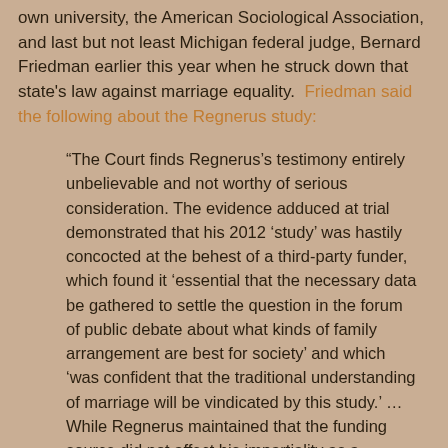own university, the American Sociological Association, and last but not least Michigan federal judge, Bernard Friedman earlier this year when he struck down that state's law against marriage equality.  Friedman said the following about the Regnerus study:
“The Court finds Regnerus’s testimony entirely unbelievable and not worthy of serious consideration. The evidence adduced at trial demonstrated that his 2012 ‘study’ was hastily concocted at the behest of a third-party funder, which found it ‘essential that the necessary data be gathered to settle the question in the forum of public debate about what kinds of family arrangement are best for society’ and which ‘was confident that the traditional understanding of marriage will be vindicated by this study.’ … While Regnerus maintained that the funding source did not affect his impartiality as a researcher, the Court finds this testimony unbelievable. The funder clearly wanted a certain result, and Regnerus obliged.”